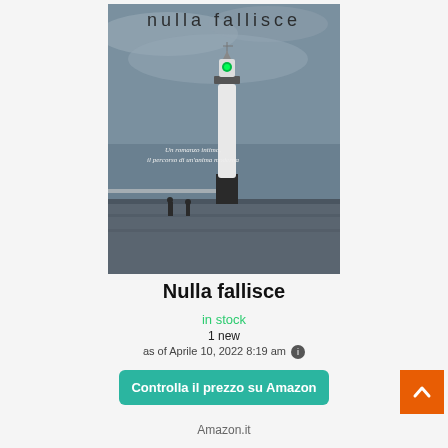[Figure (photo): Book cover of 'nulla fallisce' showing a lighthouse on a grey overcast day at a seaside pier with two figures in the background. Text on cover reads 'Un romanzo intimo, il percorso di un'anima moderna'.]
Nulla fallisce
in stock
1 new
as of Aprile 10, 2022 8:19 am
Controlla il prezzo su Amazon
Amazon.it